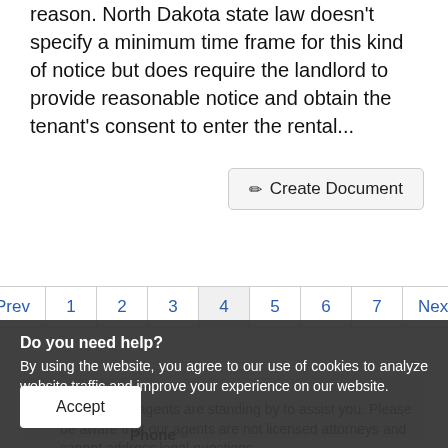reason. North Dakota state law doesn't specify a minimum time frame for this kind of notice but does require the landlord to provide reasonable notice and obtain the tenant's consent to enter the rental...
Create Document
Prev 1 2 3 4 5 6 7 Next
Do you need help?
By using the website, you agree to our use of cookies to analyze website traffic and improve your experience on our website.
Accept
Our support agents are standing by to assist you. Please be aware that our agents are not licensed attorneys and cannot address legal questions.
Phone